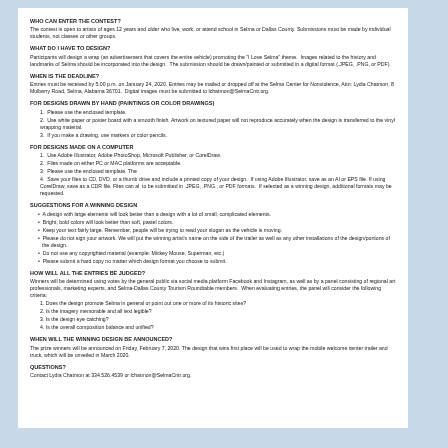WHO CAN ENTER THE CONTEST?
The contest is open to artists of ages 12 years and older who live, work, or attend school in Selma or Dallas County. Submissions must be made by individual students, not classes or other groups.
WHAT DO I HAVE TO DESIGN?
Participants will design a wrap (an advertisement that covers the entire vehicle) promoting the "I Love Selma" theme. Images related to the history and landmarks of Selma should be incorporated into the design. The submission should be drawn/painted or submitted in a digital format (.JPEG, .PNG, or PDF).
WHEN IS THE DEADLINE?
Entries must be received by 5:00 p.m. on January 24, 2020. Entries may be mailed or dropped off at the Selma Center for Nonviolence, Attn: Lydia Chatmon, 8 Mulberry Road, Selma, Alabama 36701. Digital images must be submitted to lchatmon@SelmaCntr.org.
FOR DESIGNS DRAWN BY HAND (PAINTINGS OR COLOR DRAWINGS)
1. Please use the enclosed template.
2. Use white paper or poster board with a smooth finish. Artwork on textured paper will not reproduce accurately when the design is transferred to the vinyl wrapping material.
3. If you make a drawing, use markers or color pencils.
FOR DESIGNS MADE ON A COMPUTER
1. Use Adobe Illustrator, Adobe PhotoShop, Microsoft Publisher, or CorelDraw.
2. Files made on either PC or MAC platforms are acceptable.
3. Please use the enclosed template. The
4. Save your files to CD, DVD, or a thumb drive and include a printed copy of your design. If using Adobe Illustrator, save as an AI or EPS file. If using CorelDraw, save as a CDR file. Files can also be submitted in .JPEG, .PNG., or PDF formats. If selected as a winning design, additional formats may be requested.
SUGGESTIONS FOR A WINNING DESIGN
A design with large elements will look better than a design with a lot of small, complicated elements.
Bright, bold colors will look better than soft, pastel colors.
Keep your text fairly large. Remember, people will be trying to read your slogan as the vehicle is moving.
Please do not sign your artwork. We will put the winning artist's name on the side of the trailer as well as any other installations of the design/portions of the design.
Do not use any copyrighted material (example: Mickey Mouse, Superman, etc.)
Please submit a hard copy no matter which design format you choose to submit.
HOW WILL ALL THE ENTRIES BE JUDGED?
Winners will be determined using votes by the general public via social media platform Facebook and Instagram, as well as by a panel consisting of regional art professionals, marketing experts, and Selma-Dallas County Tourism Roundtable members. When evaluating entries, the panel will consider the following criteria:
1. Does the design promote Selma in general or point out one or more of its historic sites?
2. Is the imagery memorable and all text legible?
3. Is the design eye catching?
4. Is the overall composition balance and unified?
WHEN WILL THE WINNING DESIGN BE ANNOUNCED?
The prize winners will be announced on Friday, February 7, 2020. The design that wins first place will be used to wrap the mobile welcome center trailer and truck, which will be unveiled in March 2020.
QUESTIONS?
Contact Lydia Chatmon at 334.526.4539 or lchatmon@SelmaCntr.org.